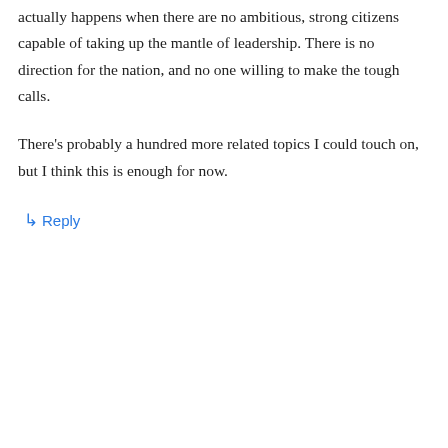actually happens when there are no ambitious, strong citizens capable of taking up the mantle of leadership. There is no direction for the nation, and no one willing to make the tough calls.
There's probably a hundred more related topics I could touch on, but I think this is enough for now.
↳ Reply
Bruno on December 27, 2011 at 4:44 pm
In rider worldview fight isn't a necessary evil, but the souljoy of every strongh person, because of this, he as king embody everything that make humans great, might, marvelous, demi-divine. The warmth in the